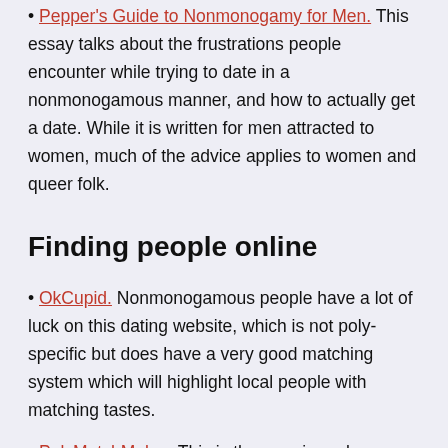Pepper's Guide to Nonmonogamy for Men. This essay talks about the frustrations people encounter while trying to date in a nonmonogamous manner, and how to actually get a date. While it is written for men attracted to women, much of the advice applies to women and queer folk.
Finding people online
OkCupid. Nonmonogamous people have a lot of luck on this dating website, which is not poly-specific but does have a very good matching system which will highlight local people with matching tastes.
PolyMatchMaker. This is the premier polyamory-specific dating site, with a fairly active set of forums as well. However, the site only has about 7,000 subscribers at one time and so it can be hard to find